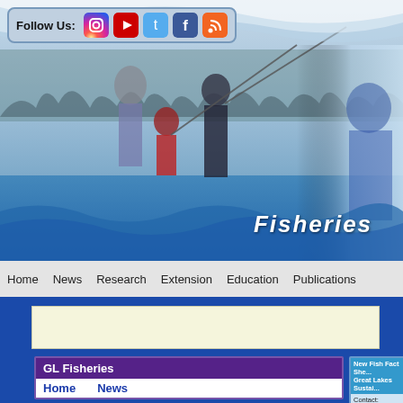[Figure (screenshot): Social media follow bar with icons for Instagram, YouTube, Twitter, Facebook, RSS]
[Figure (photo): Fisheries webpage hero banner showing people fishing at a lake with 'Fisheries' text overlay and blue wave design]
Home  News  Research  Extension  Education  Publications
[Figure (other): Beige advertisement banner area]
GL Fisheries
Home
News
New Fish Fact She... Great Lakes Sustai...
Contact:
David B. MacNeill